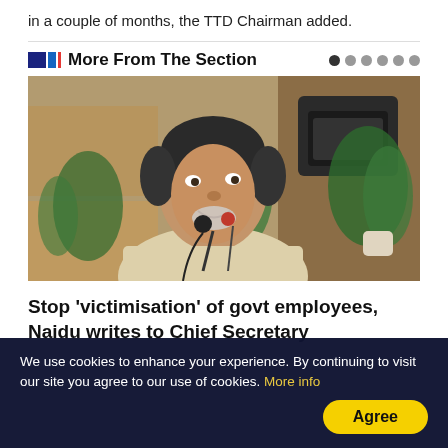in a couple of months, the TTD Chairman added.
More From The Section
[Figure (photo): A man in a light beige shirt speaking at a meeting with microphones in front of him, with plants and wooden panels in the background.]
Stop ‘victimisation’ of govt employees, Naidu writes to Chief Secretary
We use cookies to enhance your experience. By continuing to visit our site you agree to our use of cookies. More info